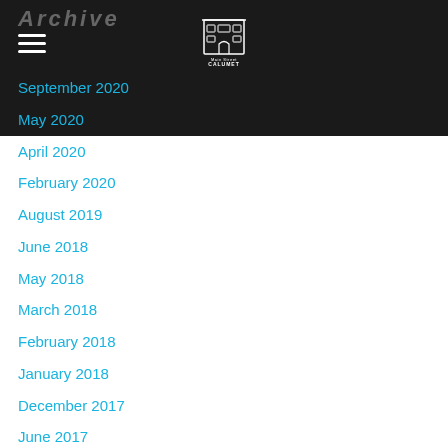Archive
September 2020
May 2020
April 2020
February 2020
August 2019
June 2018
May 2018
March 2018
February 2018
January 2018
December 2017
June 2017
May 2017
April 2017
March 2017
February 2017
[Figure (logo): Main Street Calumet logo — illustration of a building facade with text MAIN STREET CALUMET below]